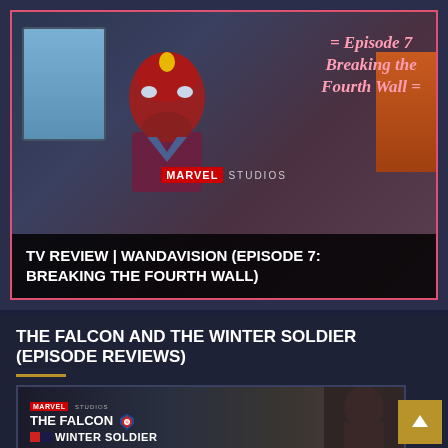[Figure (screenshot): WandaVision Episode 7 Breaking the Fourth Wall thumbnail showing Vision (red android character) with episode title text overlay and Marvel Studios logo]
TV REVIEW | WANDAVISION (EPISODE 7: BREAKING THE FOURTH WALL)
THE FALCON AND THE WINTER SOLDIER (EPISODE REVIEWS)
[Figure (screenshot): The Falcon and the Winter Soldier thumbnail with Marvel Studios logo and show title text]